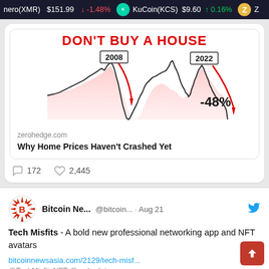nero(XMR) $151.99 ↓ -1.48%   KuCoin(KCS) $9.60 ↑ 0.16%   Z
[Figure (screenshot): Crypto price ticker bar showing Monero (XMR) at $151.99 -1.48% in red and KuCoin (KCS) at $9.60 +0.16% in green, with coin icons]
[Figure (infographic): DON'T BUY A HOUSE infographic showing housing price chart with 2008 and 2022 peaks marked, red arrows pointing down to -48% crash]
zerohedge.com
Why Home Prices Haven't Crashed Yet
172   2,445
Bitcoin Ne... @bitcoin... · Aug 21
Tech Misfits - A bold new professional networking app and NFT avatars
bitcoinnewsasia.com/2129/tech-misf...
@TechMisfitsNFT @umbadeima...